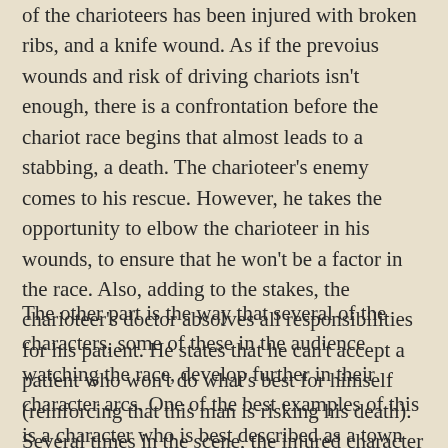of the charioteers has been injured with broken ribs, and a knife wound. As if the prevoius wounds and risk of driving chariots isn't enough, there is a confrontation before the chariot race begins that almost leads to a stabbing, a death. The charioteer's enemy comes to his rescue. However, he takes the opportunity to elbow the charioteer in his wounds, to ensure that he won't be a factor in the race. Also, adding to the stakes, the charioteer's doctor absolves all responsibilities for his patient. He states that he can't accept a patient who won't do what's best for himself (reinforcing that this man is risking his death). Several times in the scene, the injured character wonders if he will stay conscious through the entire race. The stakes are part of what makes this scene a powerful.
The other part is the way that several of the characters, some of these in the audience watching the race, develop further in their character arcs. One of the best examples of this is a character who is best described as a town bully. He is watching the race and moves from being a town bully to someone who sees the art of the chariot races. Previously, he had only rooted for the team of chariots on his side. However, in this race he sees the art and through that art, he